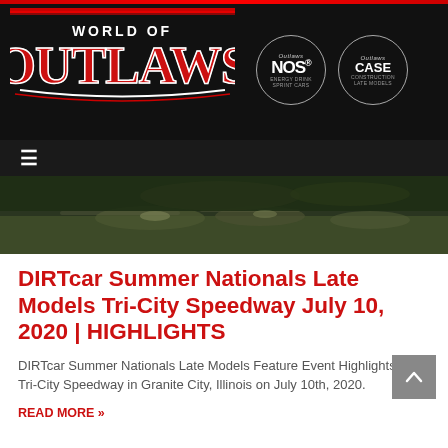[Figure (logo): World of Outlaws logo with NOS Energy Drink Sprint Cars and CASE Construction Late Models sponsor badges]
[Figure (photo): Blurry/motion-blurred race track photo showing late model cars racing on dirt track at night]
DIRTcar Summer Nationals Late Models Tri-City Speedway July 10, 2020 | HIGHLIGHTS
DIRTcar Summer Nationals Late Models Feature Event Highlights from Tri-City Speedway in Granite City, Illinois on July 10th, 2020.
READ MORE »